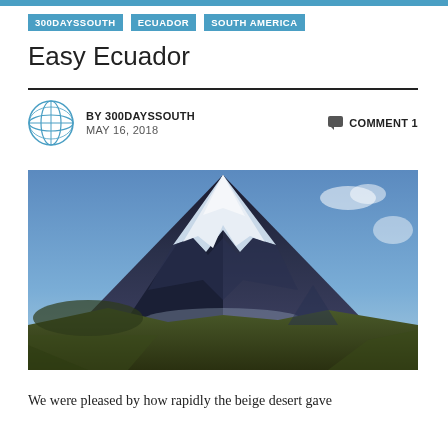300DAYSSOUTH | ECUADOR | SOUTH AMERICA
Easy Ecuador
BY 300DAYSSOUTH   MAY 16, 2018   COMMENT 1
[Figure (photo): Snow-capped volcanic mountain (likely Cotopaxi) rising above green-brown highland plains under a blue sky with clouds]
We were pleased by how rapidly the beige desert gave